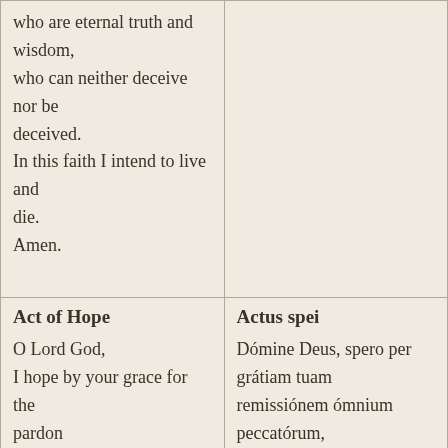who are eternal truth and wisdom, who can neither deceive nor be deceived. In this faith I intend to live and die. Amen.
Act of Hope
Actus spei
O Lord God,
I hope by your grace for the pardon
of all my sins
and after life here to gain eternal happiness
because you have promised it
Dómine Deus, spero per grátiam tuam
remissiónem ómnium peccatórum,
et post hanc vitam ætérnam felicitátem
me esse consecutúrum: